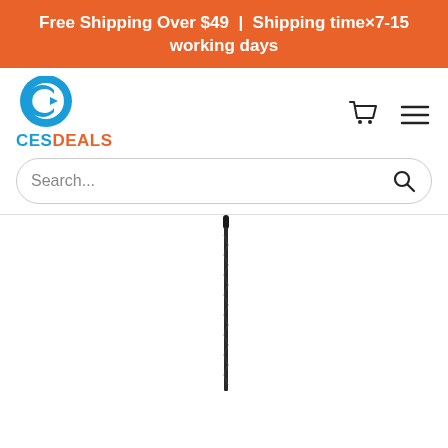Free Shipping Over $49  |  Shipping time×7-15 working days
[Figure (logo): CESDeals logo: blue circular icon with letter C and arrow, text CESDEALS in blue and orange]
[Figure (other): Shopping cart icon and hamburger menu icon]
Search...
[Figure (photo): Product image: a long thin black braided cord or whip against a white background]